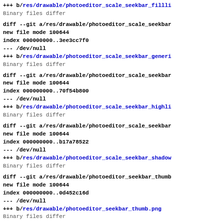+++ b/res/drawable/photoeditor_scale_seekbar_fillli
Binary files differ
diff --git a/res/drawable/photoeditor_scale_seekbar
new file mode 100644
index 000000000..3ee3cc7f0
--- /dev/null
+++ b/res/drawable/photoeditor_scale_seekbar_generi
Binary files differ
diff --git a/res/drawable/photoeditor_scale_seekbar
new file mode 100644
index 000000000..70f54b800
--- /dev/null
+++ b/res/drawable/photoeditor_scale_seekbar_highli
Binary files differ
diff --git a/res/drawable/photoeditor_scale_seekbar
new file mode 100644
index 000000000..b17a78522
--- /dev/null
+++ b/res/drawable/photoeditor_scale_seekbar_shadow
Binary files differ
diff --git a/res/drawable/photoeditor_seekbar_thumb
new file mode 100644
index 000000000..0d452c16d
--- /dev/null
+++ b/res/drawable/photoeditor_seekbar_thumb.png
Binary files differ